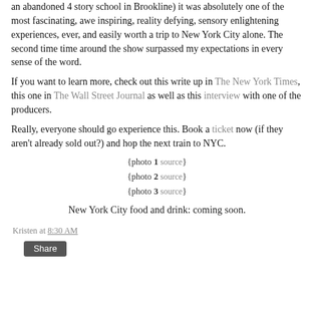an abandoned 4 story school in Brookline) it was absolutely one of the most fascinating, awe inspiring, reality defying, sensory enlightening experiences, ever, and easily worth a trip to New York City alone. The second time time around the show surpassed my expectations in every sense of the word.
If you want to learn more, check out this write up in The New York Times, this one in The Wall Street Journal as well as this interview with one of the producers.
Really, everyone should go experience this. Book a ticket now (if they aren't already sold out?) and hop the next train to NYC.
{photo 1 source}
{photo 2 source}
{photo 3 source}
New York City food and drink: coming soon.
Kristen at 8:30 AM
Share